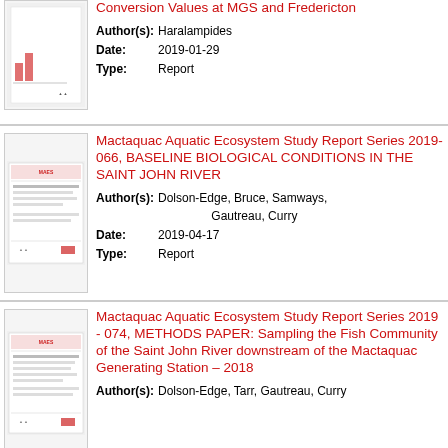[Figure (other): Thumbnail image of a report cover]
Conversion Values at MGS and Fredericton
Author(s): Haralampides
Date: 2019-01-29
Type: Report
[Figure (other): Thumbnail image of a MAES report cover]
Mactaquac Aquatic Ecosystem Study Report Series 2019-066, BASELINE BIOLOGICAL CONDITIONS IN THE SAINT JOHN RIVER
Author(s): Dolson-Edge, Bruce, Samways, Gautreau, Curry
Date: 2019-04-17
Type: Report
[Figure (other): Thumbnail image of a MAES report cover]
Mactaquac Aquatic Ecosystem Study Report Series 2019 - 074, METHODS PAPER: Sampling the Fish Community of the Saint John River downstream of the Mactaquac Generating Station – 2018
Author(s): Dolson-Edge, Tarr, Gautreau, Curry